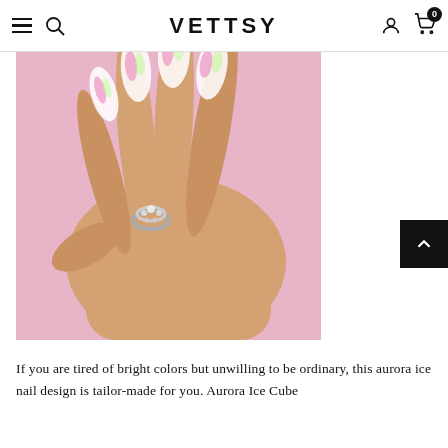VETTSY
[Figure (photo): Close-up photo of a hand with long stiletto-shaped aurora ice nails featuring iridescent pink and green shimmer effects, wearing a crystal ring, against a pink background.]
If you are tired of bright colors but unwilling to be ordinary, this aurora ice nail design is tailor-made for you. Aurora Ice Cube